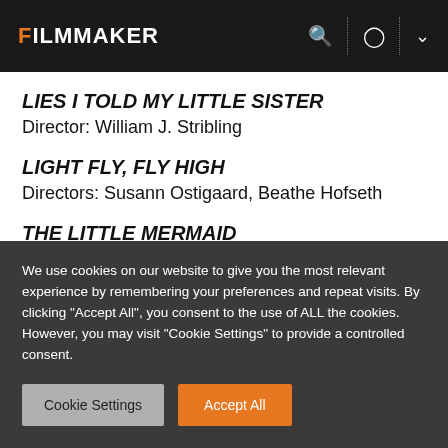FILMMAKER
LIES I TOLD MY LITTLE SISTER
Director: William J. Stribling
LIGHT FLY, FLY HIGH
Directors: Susann Ostigaard, Beathe Hofseth
THE LITTLE MERMAID
Director: Ron Clements, John Musker
We use cookies on our website to give you the most relevant experience by remembering your preferences and repeat visits. By clicking "Accept All", you consent to the use of ALL the cookies. However, you may visit "Cookie Settings" to provide a controlled consent.